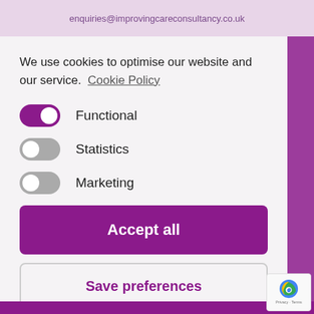enquiries@improvingcareconsultancy.co.uk
We use cookies to optimise our website and our service.  Cookie Policy
Functional (toggle on)
Statistics (toggle off)
Marketing (toggle off)
Accept all
Save preferences